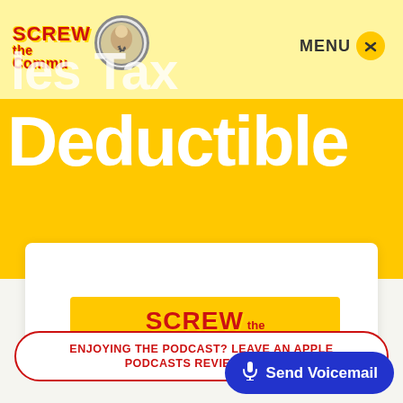[Figure (screenshot): Screw the Commute podcast website screenshot showing logo, navigation menu button, partial page title text 'les Tax Deductible', a white article card with yellow podcast banner showing 'SCREW the Commute' logo, a red-outlined CTA button, and a blue Send Voicemail button]
les Tax
Deductible
MENU
SCREW the Commute
ENJOYING THE PODCAST? LEAVE AN APPLE PODCASTS REVIEW HERE
Send Voicemail